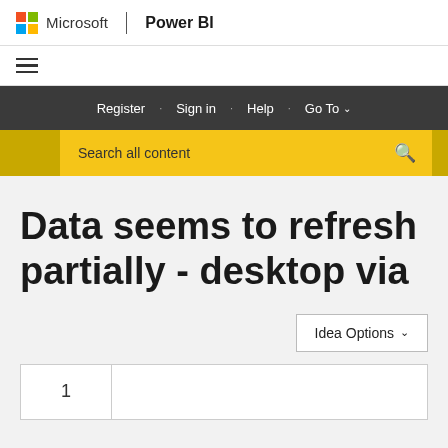Microsoft | Power BI
[Figure (screenshot): Hamburger menu icon (three horizontal lines)]
Register · Sign in · Help · Go To ∨
Search all content
Data seems to refresh partially - desktop via
Idea Options ∨
1